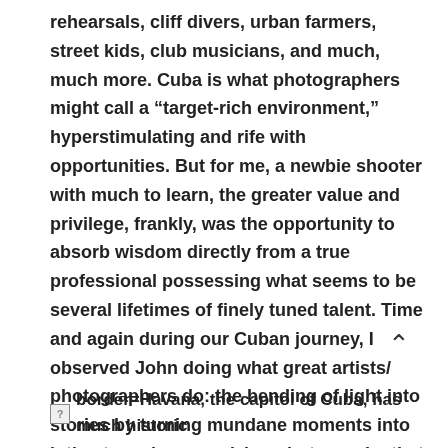rehearsals, cliff divers, urban farmers, street kids, club musicians, and much, much more. Cuba is what photographers might call a “target-rich environment,” hyperstimulating and rife with opportunities. But for me, a newbie shooter with much to learn, the greater value and privilege, frankly, was the opportunity to absorb wisdom directly from a true professional possessing what seems to be several lifetimes of finely tuned talent. Time and again during our Cuban journey, I observed John doing what great artists/ photographers do: the bending of light into stories by turning mundane moments into intimate and mesmerizing photographs that reveal inner worlds and larger truths.
[Figure (other): Upward-pointing chevron/arrow symbol used as a scroll-up or back-to-top button]
border=Havana, the capitol of Cuba, has much historic